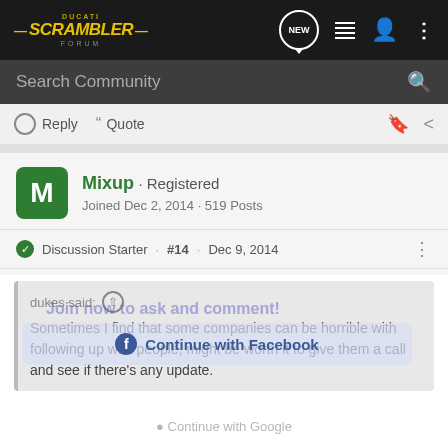Ducati Scrambler Forum
Search Community
Reply  Quote
Mixup · Registered
Joined Dec 2, 2014 · 519 Posts
Discussion Starter · #14 · Dec 9, 2014
dukes said:
Sometimes I find that some companies can be horrible with following up with people, might be worth it to give them a call and see if there's any update.
Your right I will call them tomorrow, have to say the lady I spoke to sounded fab, Sexiest I know but she was.